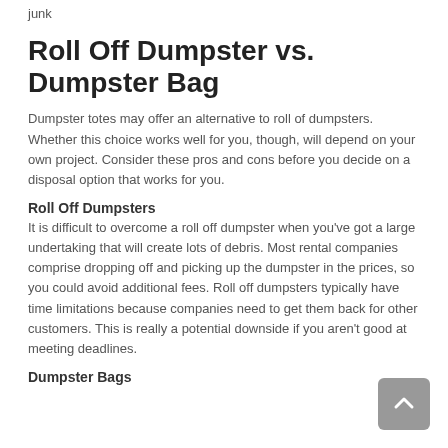junk
Roll Off Dumpster vs. Dumpster Bag
Dumpster totes may offer an alternative to roll of dumpsters. Whether this choice works well for you, though, will depend on your own project. Consider these pros and cons before you decide on a disposal option that works for you.
Roll Off Dumpsters
It is difficult to overcome a roll off dumpster when you've got a large undertaking that will create lots of debris. Most rental companies comprise dropping off and picking up the dumpster in the prices, so you could avoid additional fees. Roll off dumpsters typically have time limitations because companies need to get them back for other customers. This is really a potential downside if you aren't good at meeting deadlines.
Dumpster Bags